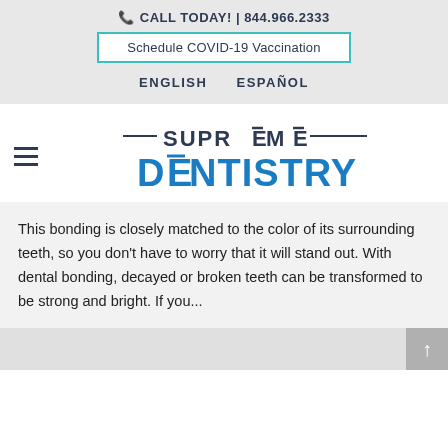📞 CALL TODAY! | 844.966.2333
Schedule COVID-19 Vaccination
ENGLISH   ESPAÑOL
[Figure (logo): Supreme Dentistry logo with dashes flanking 'SUPREME' in dark navy and 'DENTISTRY' in blue, with decorative overlines on E and N letters]
This bonding is closely matched to the color of its surrounding teeth, so you don't have to worry that it will stand out. With dental bonding, decayed or broken teeth can be transformed to be strong and bright. If you...